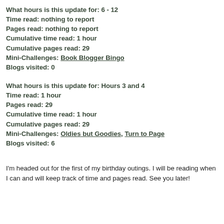What hours is this update for: 6 - 12
Time read:  nothing to report
Pages read:  nothing to report
Cumulative time read: 1 hour
Cumulative pages read: 29
Mini-Challenges:  Book Blogger Bingo
Blogs visited:  0
What hours is this update for: Hours 3 and 4
Time read:  1 hour
Pages read:  29
Cumulative time read: 1 hour
Cumulative pages read: 29
Mini-Challenges:  Oldies but Goodies, Turn to Page
Blogs visited:  6
I'm headed out for the first of my birthday outings.  I will be reading when I can and will keep track of time and pages read.  See you later!